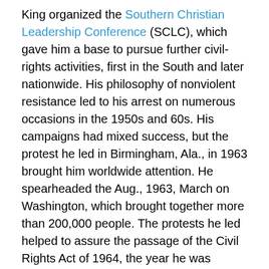King organized the Southern Christian Leadership Conference (SCLC), which gave him a base to pursue further civil-rights activities, first in the South and later nationwide. His philosophy of nonviolent resistance led to his arrest on numerous occasions in the 1950s and 60s. His campaigns had mixed success, but the protest he led in Birmingham, Ala., in 1963 brought him worldwide attention. He spearheaded the Aug., 1963, March on Washington, which brought together more than 200,000 people. The protests he led helped to assure the passage of the Civil Rights Act of 1964, the year he was awarded the Nobel Peace Prize. The following year King and the SCLC led a campaign for African-American voter registration centered on Selma, Ala. A nonviolent march from Selma to Montgomery was attacked by police who beat and teargassed the protestors, but it ultimately succeeded on the third try when the National Guard and federal troops were mobilized. The events in Selma provoked national outrage, and months later aroused